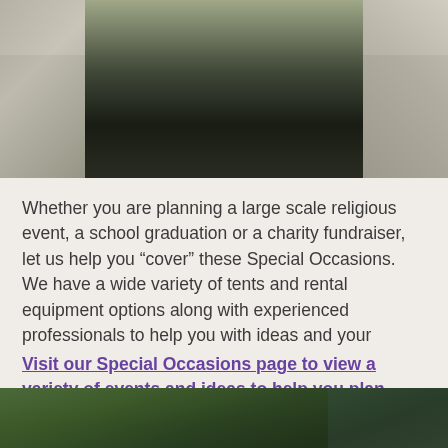[Figure (photo): Outdoor walkway/entrance with a dark shrub/bush planting in the center median, concrete sidewalks on both sides, dark background]
Whether you are planning a large scale religious event, a school graduation or a charity fundraiser, let us help you “cover” these Special Occasions. We have a wide variety of tents and rental equipment options along with experienced professionals to help you with ideas and your selection.
Visit our Special Occasions page to view a variety of events and ideas to help you plan your event.
[Figure (photo): Outdoor scene with leafy green trees against a blue sky]